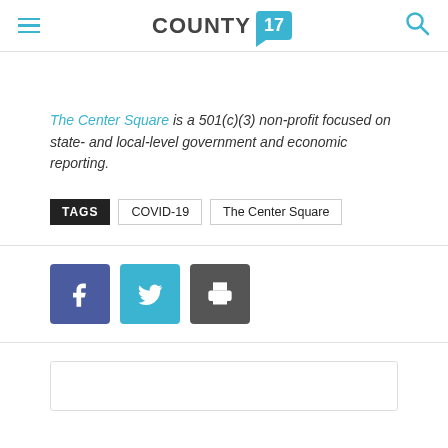COUNTY 17
The Center Square is a 501(c)(3) non-profit focused on state- and local-level government and economic reporting.
TAGS  COVID-19  The Center Square
[Figure (other): Social share buttons: Facebook, Twitter, Print]